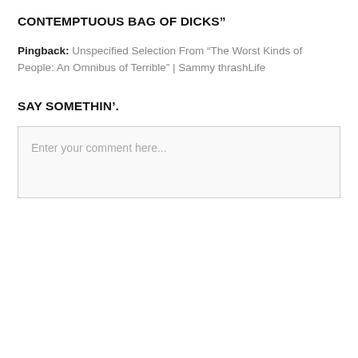CONTEMPTUOUS BAG OF DICKS”
Pingback: Unspecified Selection From “The Worst Kinds of People: An Omnibus of Terrible” | Sammy thrashLife
SAY SOMETHIN’.
Enter your comment here...